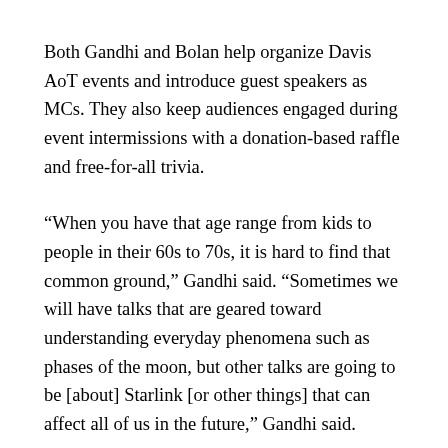Both Gandhi and Bolan help organize Davis AoT events and introduce guest speakers as MCs. They also keep audiences engaged during event intermissions with a donation-based raffle and free-for-all trivia.
“When you have that age range from kids to people in their 60s to 70s, it is hard to find that common ground,” Gandhi said. “Sometimes we will have talks that are geared toward understanding everyday phenomena such as phases of the moon, but other talks are going to be [about] Starlink [or other things] that can affect all of us in the future,” Gandhi said.
According to Gandhi and Bolan, the majority of guest speakers at Davis Aot events are associated with the Physics and Astronomy Department at UC Davis.
While the two joked that they have pretty much hosted every UC